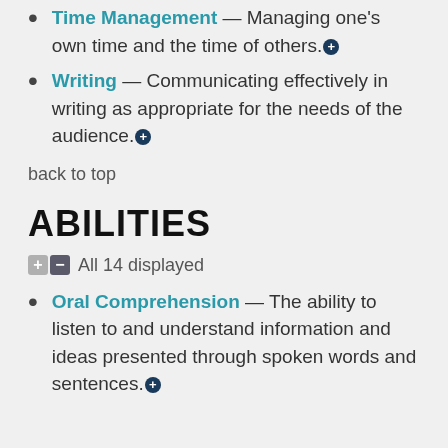Time Management — Managing one's own time and the time of others.
Writing — Communicating effectively in writing as appropriate for the needs of the audience.
back to top
ABILITIES
All 14 displayed
Oral Comprehension — The ability to listen to and understand information and ideas presented through spoken words and sentences.